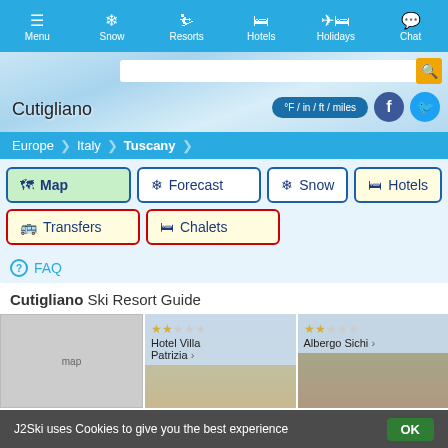Menu | Snow | Resorts | Hotels | Holidays | Chat
[Figure (screenshot): Hero banner with snowy mountain background, Cutigliano title, unit toggle button, Facebook and Twitter icons, search bar]
Europe > Italy > Tuscany
Map
Forecast
Snow
Hotels
Transfers
Chalets
FAQ
Cutigliano Ski Resort Guide
[Figure (map): Map thumbnail of Cutigliano area]
[Figure (photo): Hotel Villa Patrizia – 2 star hotel photo]
[Figure (photo): Albergo Sichi – 2 star hotel photo]
J2Ski uses Cookies to give you the best experience  OK